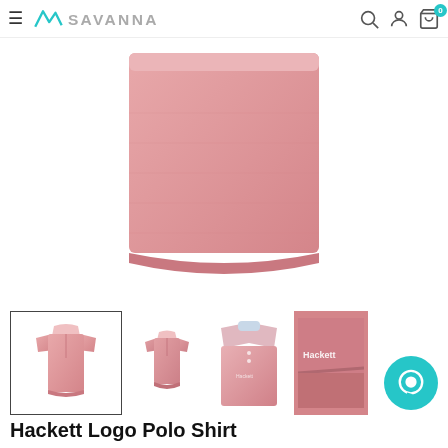SAVANNA - navigation header with hamburger, logo, search, account, cart
[Figure (photo): Main large product photo: pink Hackett polo shirt, close-up of bottom hem on white background]
[Figure (photo): Thumbnail 1 (selected/bordered): full pink polo shirt front view]
[Figure (photo): Thumbnail 2: full pink polo shirt front view smaller]
[Figure (photo): Thumbnail 3: close-up of polo collar and chest]
[Figure (photo): Thumbnail 4: close-up of Hackett logo on sleeve/hem]
Hackett Logo Polo Shirt